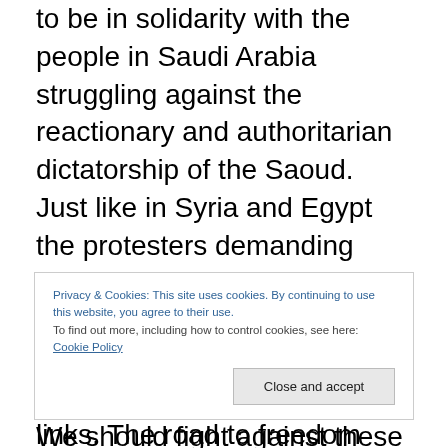to be in solidarity with the people in Saudi Arabia struggling against the reactionary and authoritarian dictatorship of the Saoud. Just like in Syria and Egypt the protesters demanding Freedom and Dignity are accused of being terrorists by their regimes. Our struggle is their struggle, our destiny are links. The road to freedom and dignity is linked to the liberation of all the people of the region, and this includes of course the liberation of the Palestinian people from Israel Apartheid's State.
Privacy & Cookies: This site uses cookies. By continuing to use this website, you agree to their use. To find out more, including how to control cookies, see here: Cookie Policy
We should fight against these policies and groups